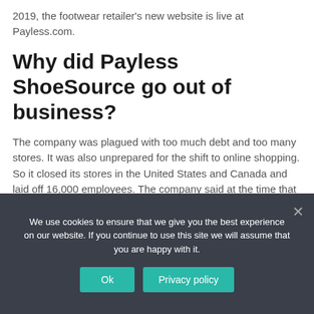2019, the footwear retailer's new website is live at Payless.com.
Why did Payless ShoeSource go out of business?
The company was plagued with too much debt and too many stores. It was also unprepared for the shift to online shopping. So it closed its stores in the United States and Canada and laid off 16,000 employees. The company said at the time that it would keep open stores outside North America.
We use cookies to ensure that we give you the best experience on our website. If you continue to use this site we will assume that you are happy with it.